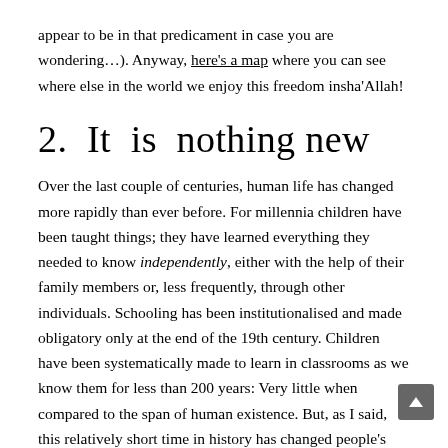appear to be in that predicament in case you are wondering…). Anyway, here's a map where you can see where else in the world we enjoy this freedom insha'Allah!
2.  It  is  nothing new
Over the last couple of centuries, human life has changed more rapidly than ever before. For millennia children have been taught things; they have learned everything they needed to know independently, either with the help of their family members or, less frequently, through other individuals. Schooling has been institutionalised and made obligatory only at the end of the 19th century. Children have been systematically made to learn in classrooms as we know them for less than 200 years: Very little when compared to the span of human existence. But, as I said, this relatively short time in history has changed people's life beyond recognition. School has rapidly become synonym with learning; in